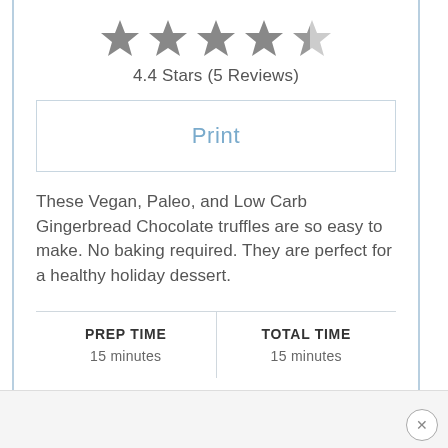[Figure (other): Star rating display showing 4 filled stars and 1 half/partial star]
4.4 Stars (5 Reviews)
Print
These Vegan, Paleo, and Low Carb Gingerbread Chocolate truffles are so easy to make. No baking required. They are perfect for a healthy holiday dessert.
| PREP TIME | TOTAL TIME |
| --- | --- |
| 15 minutes | 15 minutes |